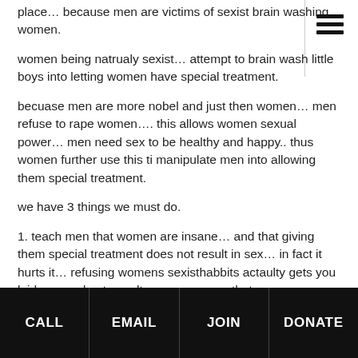place… because men are victims of sexist brain washing women.
women being natrualy sexist… attempt to brain wash little boys into letting women have special treatment.
becuase men are more nobel and just then women… men refuse to rape women…. this allows women sexual power… men need sex to be healthy and happy.. thus women further use this ti manipulate men into allowing them special treatment.
we have 3 things we must do.
1. teach men that women are insane… and that giving them special treatment does not result in sex… in fact it hurts it… refusing womens sexisthabbits actaulty gets you laid more.. due to evoltuonary reasons that women are programed to follow.
CALL  EMAIL  JOIN  DONATE